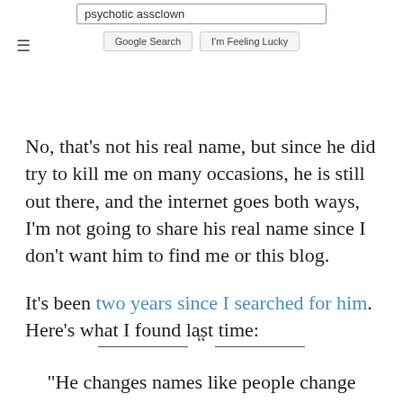[Figure (screenshot): Google search bar with query 'psychotic assclown' and buttons 'Google Search' and 'I'm Feeling Lucky']
No, that’s not his real name, but since he did try to kill me on many occasions, he is still out there, and the internet goes both ways, I’m not going to share his real name since I don’t want him to find me or this blog.
It’s been two years since I searched for him. Here’s what I found last time:
“He changes names like people change